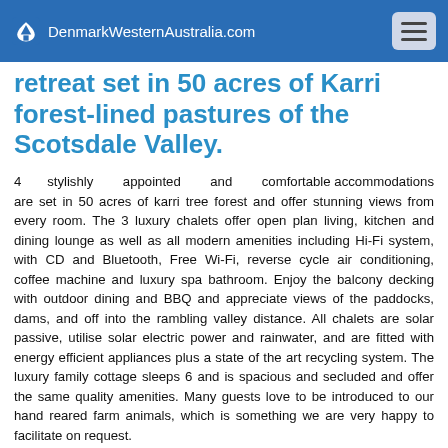DenmarkWesternAustralia.com
retreat set in 50 acres of Karri forest-lined pastures of the Scotsdale Valley.
4 stylishly appointed and comfortable accommodations are set in 50 acres of karri tree forest and offer stunning views from every room. The 3 luxury chalets offer open plan living, kitchen and dining lounge as well as all modern amenities including Hi-Fi system, with CD and Bluetooth, Free Wi-Fi, reverse cycle air conditioning, coffee machine and luxury spa bathroom. Enjoy the balcony decking with outdoor dining and BBQ and appreciate views of the paddocks, dams, and off into the rambling valley distance. All chalets are solar passive, utilise solar electric power and rainwater, and are fitted with energy efficient appliances plus a state of the art recycling system. The luxury family cottage sleeps 6 and is spacious and secluded and offer the same quality amenities. Many guests love to be introduced to our hand reared farm animals, which is something we are very happy to facilitate on request.